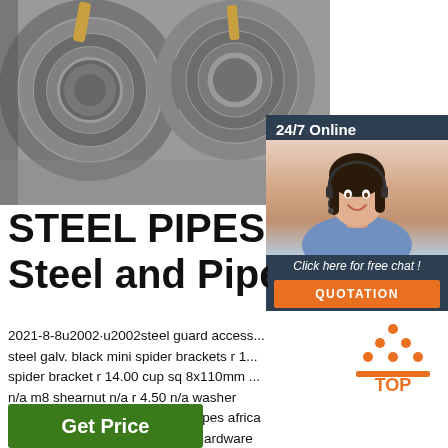[Figure (photo): Steel pipe coils/rolls stacked together, gray metallic color]
[Figure (infographic): 24/7 Online chat widget with female customer service agent wearing headset, orange QUOTATION button and 'Click here for free chat!' text]
STEEL PIPES AFRICA Steel and Pipes for Afri
2021-8-8u2002·u2002steel guard access... steel galv. black mini spider brackets r 1... spider bracket r 14.00 cup sq 8x110mm ... n/a m8 shearnut n/a r 4.50 n/a washer 8x25mm n/a r 1.50 n/a steel & pipes africa your one stop steel, tubing and hardware shop for (pty) ltd. prices valid from: 08 august 2021 (incl. 15% vat)
[Figure (logo): TOP logo with orange triangle/pyramid shape and orange text]
Get Price